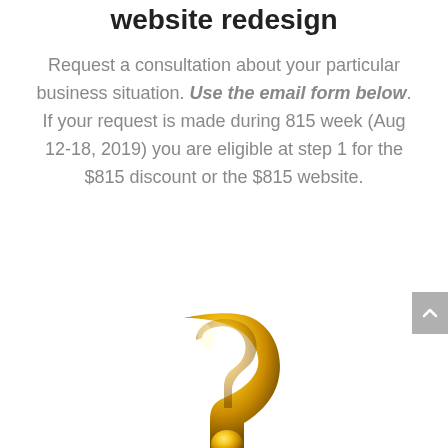website redesign
Request a consultation about your particular business situation. Use the email form below. If your request is made during 815 week (Aug 12-18, 2019) you are eligible at step 1 for the $815 discount or the $815 website.
[Figure (illustration): A golden/yellow 3D question mark symbol, cropped at the bottom of the page]